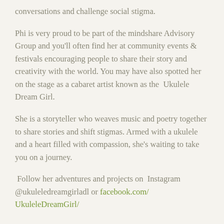conversations and challenge social stigma.
Phi is very proud to be part of the mindshare Advisory Group and you'll often find her at community events & festivals encouraging people to share their story and creativity with the world. You may have also spotted her on the stage as a cabaret artist known as the Ukulele Dream Girl.
She is a storyteller who weaves music and poetry together to share stories and shift stigmas. Armed with a ukulele and a heart filled with compassion, she's waiting to take you on a journey.
Follow her adventures and projects on Instagram @ukuleledreamgirladl or facebook.com/UkuleleDreamGirl/